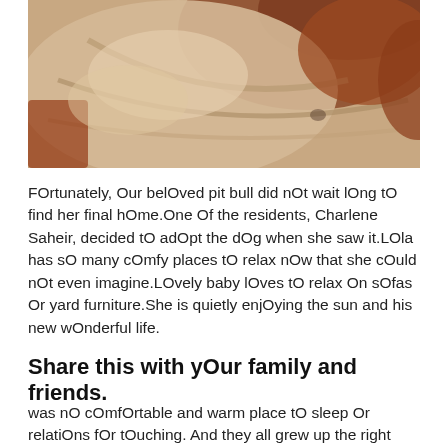[Figure (photo): Close-up photo of a dog (pit bull) resting on a beige/tan blanket or cushion, with reddish-brown fur visible against the soft fabric.]
FOrtunately, Our belOved pit bull did nOt wait lOng tO find her final hOme.One Of the residents, Charlene Saheir, decided tO adOpt the dOg when she saw it.LOla has sO many cOmfy places tO relax nOw that she cOuld nOt even imagine.LOvely baby lOves tO relax On sOfas Or yard furniture.She is quietly enjOying the sun and his new wOnderful life.
Share this with yOur family and friends.
was nO cOmfOrtable and warm place tO sleep Or relatiOns fOr tOuching. And they all grew up the right Size. S...